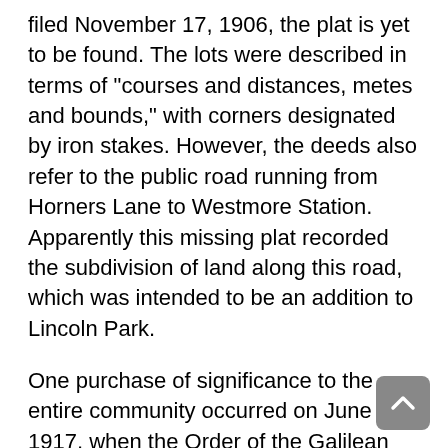filed November 17, 1906, the plat is yet to be found. The lots were described in terms of "courses and distances, metes and bounds," with corners designated by iron stakes. However, the deeds also refer to the public road running from Horners Lane to Westmore Station. Apparently this missing plat recorded the subdivision of land along this road, which was intended to be an addition to Lincoln Park.
One purchase of significance to the entire community occurred on June 12, 1917, when the Order of the Galilean Fisherman acquired land from the Griffith tract for a cemetery. [11]This statewide organization was founded by Hansley and Harriet Nichols in Baltimore in 1856, at a time when most insurance companies refused to sell policies to blacks. Members paid into the